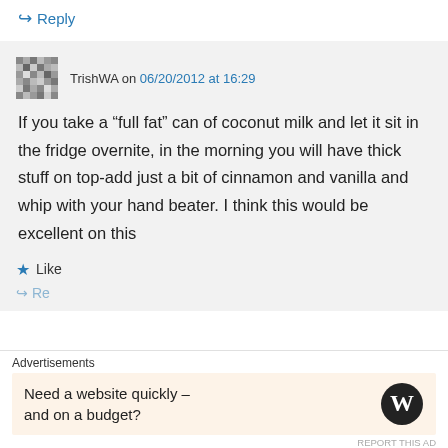↪ Reply
TrishWA on 06/20/2012 at 16:29
If you take a “full fat” can of coconut milk and let it sit in the fridge overnite, in the morning you will have thick stuff on top-add just a bit of cinnamon and vanilla and whip with your hand beater. I think this would be excellent on this
★ Like
Advertisements
Need a website quickly – and on a budget?